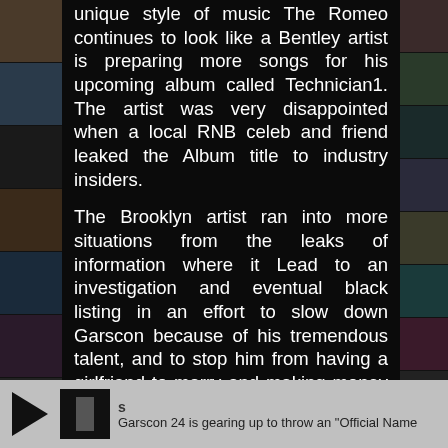unique style of music The Romeo continues to look like a Bentley artist is preparing more songs for his upcoming album called Technician1. The artist was very disappointed when a local RNB celeb and friend leaked the Album title to industry insiders.
The Brooklyn artist ran into more situations from the leaks of information where it Lead to an investigation and eventual black listing in an effort to slow down Garscon because of his tremendous talent, and to stop him from having a girlfriend to marry and making money in the music industry.
Garscon stated that he is extremely embarrassed that he is going through this harassment, but that he is not going to let this slow him down. He has “more drive then anything. Profession music is here to
Garscon 24 is gearing up to throw an "Official Name